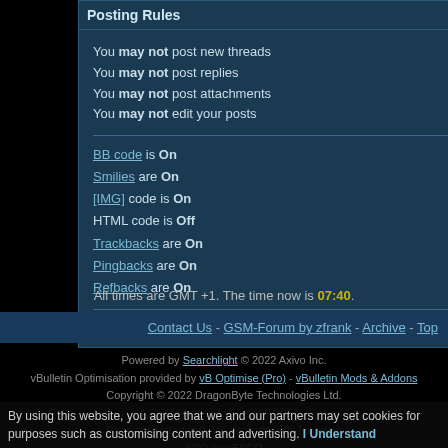Posting Rules
You may not post new threads
You may not post replies
You may not post attachments
You may not edit your posts
BB code is On
Smilies are On
[IMG] code is On
HTML code is Off
Trackbacks are On
Pingbacks are On
Refbacks are On
Forum Rules
All times are GMT +1. The time now is 07:40.
Contact Us - GSM-Forum by zfrank - Archive - Top
Powered by Searchlight © 2022 Axivo Inc.
vBulletin Optimisation provided by vB Optimise (Pro) - vBulletin Mods & Addons
Copyright © 2022 DragonByte Technologies Ltd.
- GSM Hosting Ltd. - 1999-2017 -
Page generated in 0.245 seconds with 7 queries
SEO by vBSEO
By using this website, you agree that we and our partners may set cookies for purposes such as customising content and advertising. I Understand